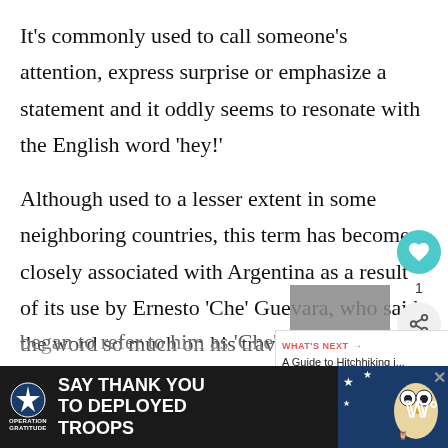It's commonly used to call someone's attention, express surprise or emphasize a statement and it oddly seems to resonate with the English word 'hey!'
Although used to a lesser extent in some neighboring countries, this term has become closely associated with Argentina as a result of its use by Ernesto 'Che' Guevara, who said the word so much on his travels that others began to refer to him as 'Che'...
[Figure (screenshot): Advertisement bar at bottom: Operation Gratitude 'Say Thank You to Deployed Troops' ad with patriotic imagery and owl graphic on dark background]